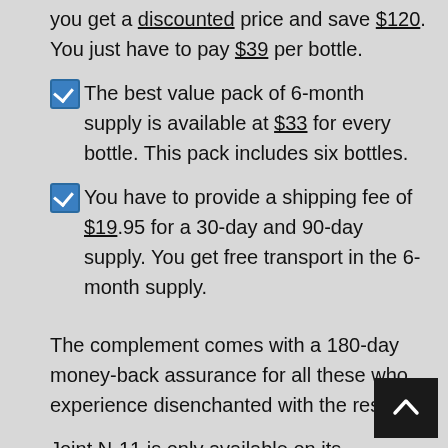you get a discounted price and save $120. You just have to pay $39 per bottle.
The best value pack of 6-month supply is available at $33 for every bottle. This pack includes six bottles.
You have to provide a shipping fee of $19.95 for a 30-day and 90-day supply. You get free transport in the 6-month supply.
The complement comes with a 180-day money-back assurance for all these who experience disenchanted with the results.
Joint N-11 is only available on its official website and not available in other e-commerce sites